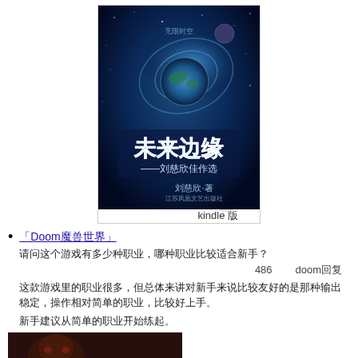[Figure (illustration): Book cover of '未来边缘——刘慈欣佳作选' (Future Edge - Liu Cixin Best Works Selection), Kindle edition. Dark blue space-themed cover with galaxy/spiral nebula imagery, Earth, planets. Title in large Chinese characters '未来边缘' with subtitle '——刘慈欣佳作选' and author '刘慈欣·著'. 'kindle版' label at bottom right.]
「Doom魔兽世界」 - Chinese description text and body text about doom with number 486
[Figure (photo): Dark photo showing what appears to be a video game or media character/scene at the bottom of the page]